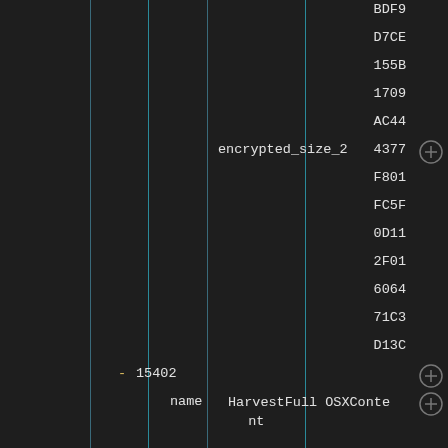[Figure (screenshot): Dark-themed developer tool or configuration editor showing a hierarchical data structure with hex values (BDF9, D7CE, 155B, 1709, AC44, 4377, F801, FC5F, 0D11, 2F01, 6064, 71C3, D13C) next to 'encrypted_size_2' key, then entries for 15402, name HarvestFull OSXContent, config, and oslist macos, with vertical indent guide lines and add (+) buttons on the right.]